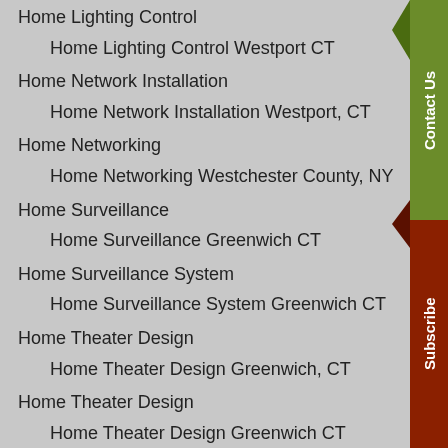Home Lighting Control
Home Lighting Control Westport CT
Home Network Installation
Home Network Installation Westport, CT
Home Networking
Home Networking Westchester County, NY
Home Surveillance
Home Surveillance Greenwich CT
Home Surveillance System
Home Surveillance System Greenwich CT
Home Theater Design
Home Theater Design Greenwich, CT
Home Theater Design
Home Theater Design Greenwich CT
Home Theater Design, Scarsdale NY
Home Theater Installation
Home Theater Installation Fairfield County, CT